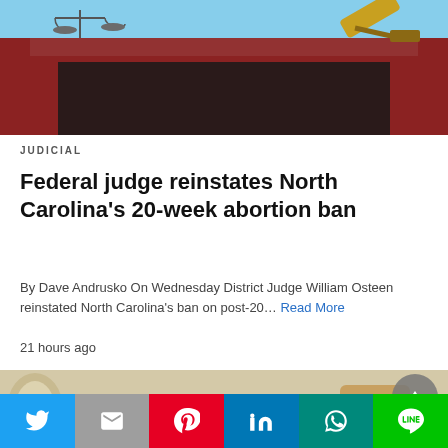[Figure (illustration): Illustration of a judge's bench with scales of justice on the left and a gavel on the right, with dark red/brown podium against a light blue background]
JUDICIAL
Federal judge reinstates North Carolina's 20-week abortion ban
By Dave Andrusko On Wednesday District Judge William Osteen reinstated North Carolina's ban on post-20... Read More
21 hours ago
[Figure (photo): Photo of a scroll of paper with cursive 'Law' text and a wooden gavel]
Twitter | Gmail | Pinterest | LinkedIn | WhatsApp | LINE